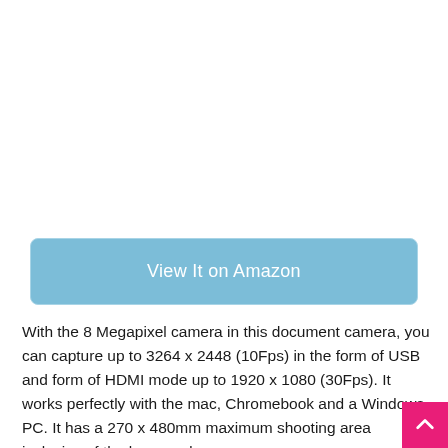[Figure (other): Blue button linking to Amazon product page with text 'View It on Amazon']
With the 8 Megapixel camera in this document camera, you can capture up to 3264 x 2448 (10Fps) in the form of USB and form of HDMI mode up to 1920 x 1080 (30Fps). It works perfectly with the mac, Chromebook and a Windows PC. It has a 270 x 480mm maximum shooting area inclusive of the base and